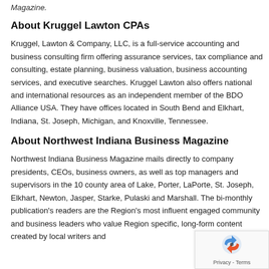Magazine.
About Kruggel Lawton CPAs
Kruggel, Lawton & Company, LLC, is a full-service accounting and business consulting firm offering assurance services, tax compliance and consulting, estate planning, business valuation, business accounting services, and executive searches. Kruggel Lawton also offers national and international resources as an independent member of the BDO Alliance USA. They have offices located in South Bend and Elkhart, Indiana, St. Joseph, Michigan, and Knoxville, Tennessee.
About Northwest Indiana Business Magazine
Northwest Indiana Business Magazine mails directly to company presidents, CEOs, business owners, as well as top managers and supervisors in the 10 county area of Lake, Porter, LaPorte, St. Joseph, Elkhart, Newton, Jasper, Starke, Pulaski and Marshall. The bi-monthly publication's readers are the Region's most influential engaged community and business leaders who value Region-specific, long-form content created by local writers and